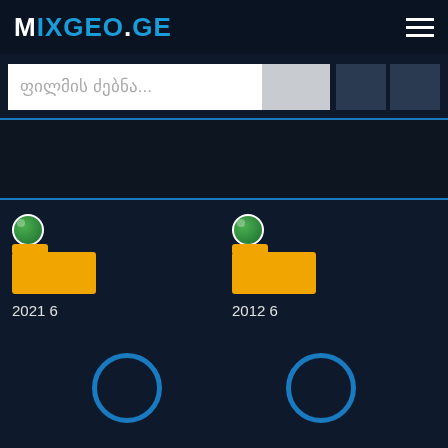MIXGEO.GE
ფილმის ძებნა...
[Figure (screenshot): Movie card with globe thumbnail icon and yellow folder icon, labeled 2021 6]
[Figure (screenshot): Movie card with globe thumbnail icon and yellow folder icon, labeled 2012 6]
[Figure (other): Blue circle icon button]
[Figure (other): Blue circle icon button]